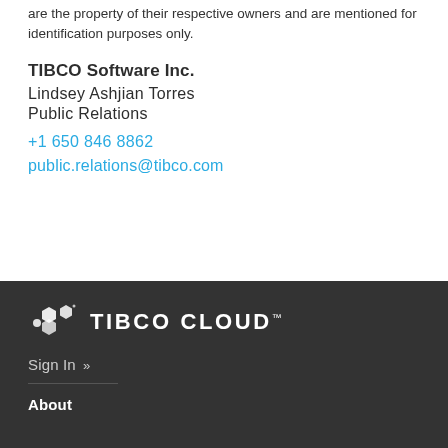are the property of their respective owners and are mentioned for identification purposes only.
TIBCO Software Inc.
Lindsey Ashjian Torres
Public Relations
+1 650 846 8862
public.relations@tibco.com
[Figure (logo): TIBCO CLOUD logo with hexagonal icon on dark background]
Sign In »
About